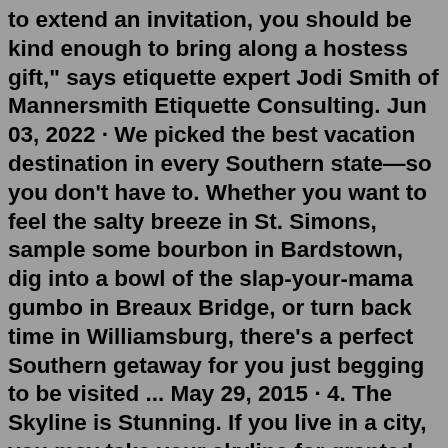to extend an invitation, you should be kind enough to bring along a hostess gift," says etiquette expert Jodi Smith of Mannersmith Etiquette Consulting. Jun 03, 2022 · We picked the best vacation destination in every Southern state—so you don't have to. Whether you want to feel the salty breeze in St. Simons, sample some bourbon in Bardstown, dig into a bowl of the slap-your-mama gumbo in Breaux Bridge, or turn back time in Williamsburg, there's a perfect Southern getaway for you just begging to be visited ... May 29, 2015 · 4. The Skyline is Stunning. If you live in a city, you may take your skyline for granted, but let me remind you how cool it is. Skyscrapers are amazing feats of engineering and a testament to ... For Every Living Thing® Felt, USAPhylum. The phylum is the next level in the classification system and is used to group living organisms together based on some common features. A good example to consider is when you sort your laundry by items of clothes. Your socks aren't all the same, you most likely group them together, but then in the same drawer...